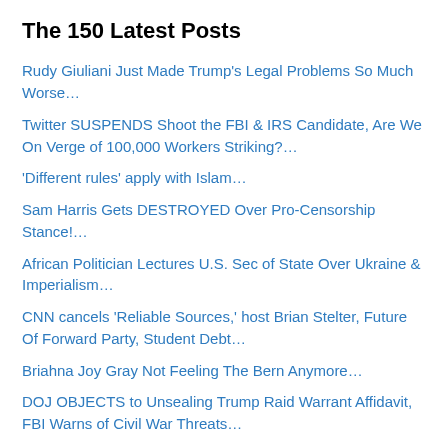The 150 Latest Posts
Rudy Giuliani Just Made Trump's Legal Problems So Much Worse…
Twitter SUSPENDS Shoot the FBI & IRS Candidate, Are We On Verge of 100,000 Workers Striking?…
'Different rules' apply with Islam…
Sam Harris Gets DESTROYED Over Pro-Censorship Stance!…
African Politician Lectures U.S. Sec of State Over Ukraine & Imperialism…
CNN cancels 'Reliable Sources,' host Brian Stelter, Future Of Forward Party, Student Debt…
Briahna Joy Gray Not Feeling The Bern Anymore…
DOJ OBJECTS to Unsealing Trump Raid Warrant Affidavit, FBI Warns of Civil War Threats…
Trump Hires Trash Lawyers Because Competent Attorneys REFUSE To Work For Him…
Saagar Enjeti: PROOF Biden Censored Critics On Social Media…
Rep. Adam Schiff weighs in on the raid at Trump's Mar-a-Lago home…
Hillary Clinton Dusts Off Bernie Derangement, Believes Elizabeth Warren's Bernie is Sexist Smear…